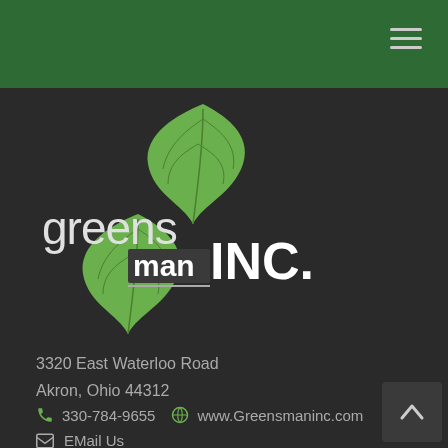[Figure (logo): Greensman INC. logo with green maple leaf and stylized text]
3320 East Waterloo Road
Akron, Ohio 44312
330-784-9655   www.Greensmaninc.com
EMail Us
Quick Links
Extended Life Fertilizer
Trees & Shrubs